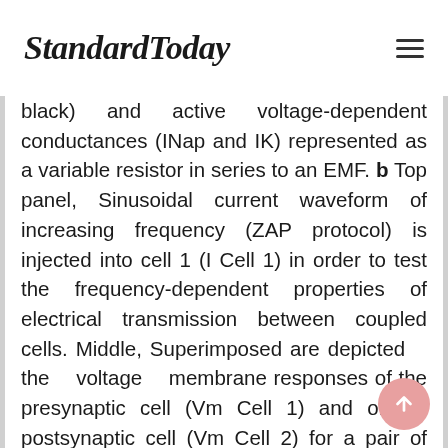StandardToday
black) and active voltage-dependent conductances (INap and IK) represented as a variable resistor in series to an EMF. b Top panel, Sinusoidal current waveform of increasing frequency (ZAP protocol) is injected into cell 1 (I Cell 1) in order to test the frequency-dependent properties of electrical transmission between coupled cells. Middle, Superimposed are depicted the voltage membrane responses of the presynaptic cell (Vm Cell 1) and of the postsynaptic cell (Vm Cell 2) for a pair of coupled cells which include only passive elements (RC circuit, black elements in circuit in A). Both responses are characteristics of a low-pass filter where amplitude of membrane